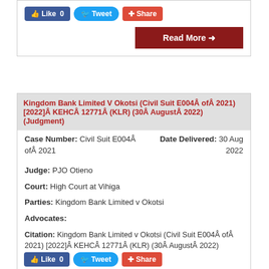[Figure (screenshot): Social media buttons: Like 0 (Facebook blue), Tweet (Twitter blue), Share (red/orange)]
Read More →
Kingdom Bank Limited V Okotsi (Civil Suit E004Â ofÂ 2021) [2022]Â KEHCÂ 12771Â (KLR) (30Â AugustÂ 2022) (Judgment)
| Case Number: Civil Suit E004Â ofÂ 2021 | Date Delivered: 30 Aug 2022 |
| Judge: PJO Otieno |  |
| Court: High Court at Vihiga |  |
| Parties: Kingdom Bank Limited v Okotsi |  |
| Advocates: |  |
| Citation: Kingdom Bank Limited v Okotsi (Civil Suit E004Â ofÂ 2021) [2022]Â KEHCÂ 12771Â (KLR) (30Â AugustÂ 2022) (Judgment) |  |
[Figure (screenshot): Social media buttons at bottom: Like 0 (Facebook blue), Tweet (Twitter blue), Share (red/orange)]